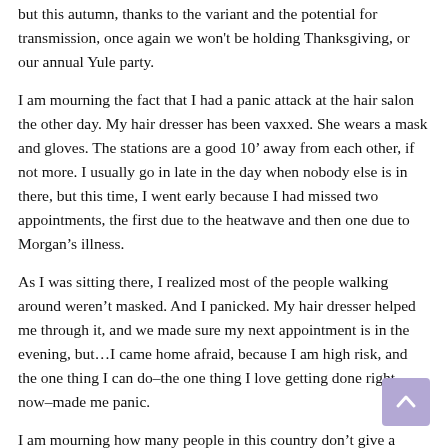but this autumn, thanks to the variant and the potential for transmission, once again we won't be holding Thanksgiving, or our annual Yule party.
I am mourning the fact that I had a panic attack at the hair salon the other day. My hair dresser has been vaxxed. She wears a mask and gloves. The stations are a good 10’ away from each other, if not more. I usually go in late in the day when nobody else is in there, but this time, I went early because I had missed two appointments, the first due to the heatwave and then one due to Morgan’s illness.
As I was sitting there, I realized most of the people walking around weren’t masked. And I panicked. My hair dresser helped me through it, and we made sure my next appointment is in the evening, but…I came home afraid, because I am high risk, and the one thing I can do–the one thing I love getting done right now–made me panic.
I am mourning how many people in this country don’t give a